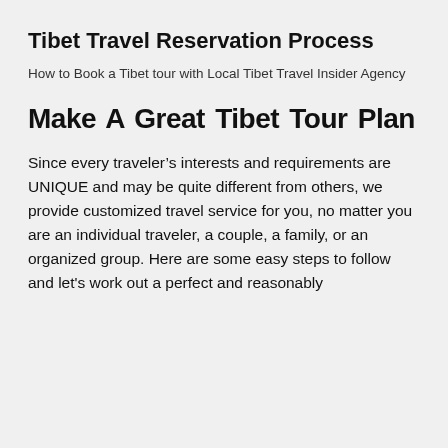Tibet Travel Reservation Process
How to Book a Tibet tour with Local Tibet Travel Insider Agency
Make A Great Tibet Tour Plan
Since every traveler’s interests and requirements are UNIQUE and may be quite different from others, we provide customized travel service for you, no matter you are an individual traveler, a couple, a family, or an organized group. Here are some easy steps to follow and let’s work out a perfect and reasonably